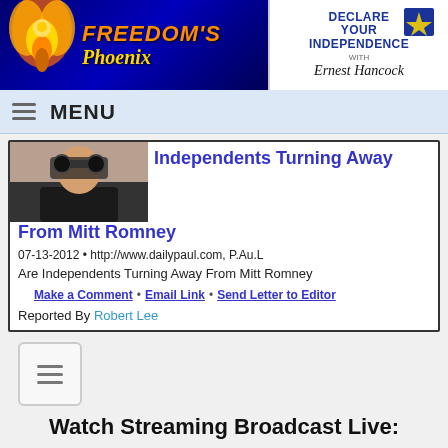[Figure (logo): Freedom's Phoenix logo with golden phoenix bird on dark blue background, orange and gold text reading FREEDOM'S Phoenix]
[Figure (logo): Declare Your Independence with Ernest Hancock logo, dark blue text with signature]
MENU
[Figure (photo): Thumbnail photo of a person looking through binoculars or camera]
Independents Turning Away From Mitt Romney
07-13-2012 • http://www.dailypaul.com, P.Au.L
Are Independents Turning Away From Mitt Romney
Make a Comment • Email Link • Send Letter to Editor
Reported By Robert Lee
Watch Streaming Broadcast Live:
[Figure (logo): Blue play button icon for streaming broadcast]